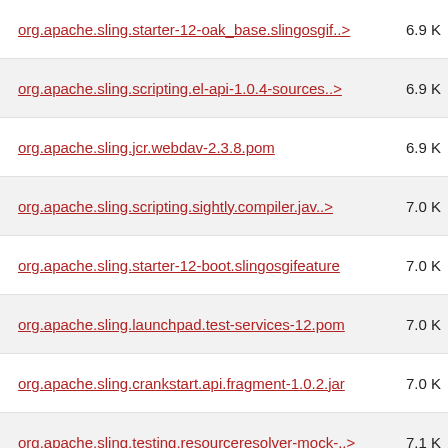org.apache.sling.starter-12-oak_base.slingosgif..> 6.9 K
org.apache.sling.scripting.el-api-1.0.4-sources..> 6.9 K
org.apache.sling.jcr.webdav-2.3.8.pom 6.9 K
org.apache.sling.scripting.sightly.compiler.jav..> 7.0 K
org.apache.sling.starter-12-boot.slingosgifeature 7.0 K
org.apache.sling.launchpad.test-services-12.pom 7.0 K
org.apache.sling.crankstart.api.fragment-1.0.2.jar 7.0 K
org.apache.sling.testing.resourceresolver-mock-..> 7.1 K